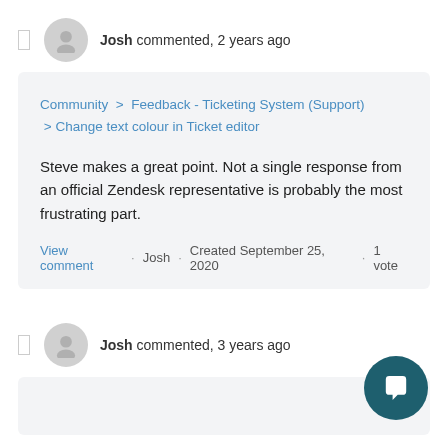Josh commented, 2 years ago
Community > Feedback - Ticketing System (Support) > Change text colour in Ticket editor
Steve makes a great point. Not a single response from an official Zendesk representative is probably the most frustrating part.
View comment · Josh · Created September 25, 2020 · 1 vote
Josh commented, 3 years ago